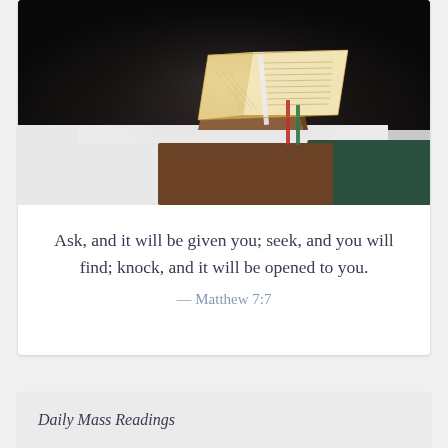[Figure (photo): Open Bible/lectionary on a wooden altar with white cloth and a dark green cloth, photographed in a dimly lit church setting. Ribbon bookmarks in white, red, and green are visible.]
Ask, and it will be given you; seek, and you will find; knock, and it will be opened to you.
— Matthew 7:7
Daily Mass Readings